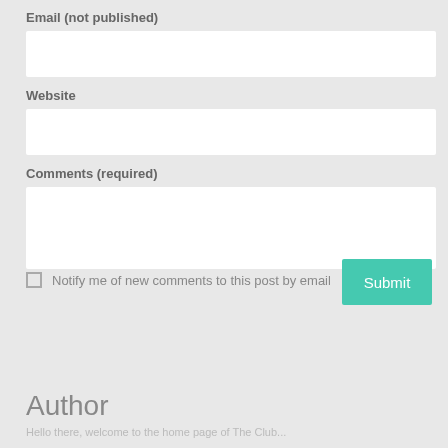Email (not published)
Website
Comments (required)
Notify me of new comments to this post by email
Submit
Author